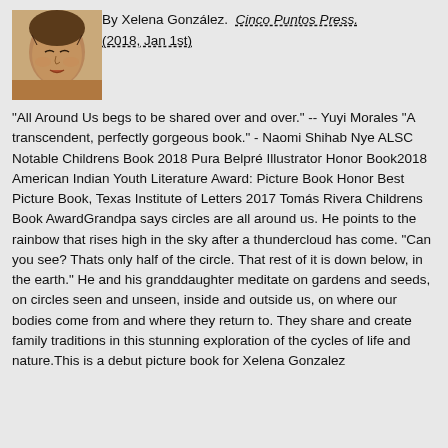[Figure (illustration): Book cover illustration showing a woman or girl with eyes closed, painted in warm brown and ochre tones]
By Xelena González. Cinco Puntos Press. (2018, Jan 1st)
"All Around Us begs to be shared over and over." -- Yuyi Morales "A transcendent, perfectly gorgeous book." - Naomi Shihab Nye ALSC Notable Childrens Book 2018 Pura Belpré Illustrator Honor Book2018 American Indian Youth Literature Award: Picture Book Honor Best Picture Book, Texas Institute of Letters 2017 Tomás Rivera Childrens Book AwardGrandpa says circles are all around us. He points to the rainbow that rises high in the sky after a thundercloud has come. "Can you see? Thats only half of the circle. That rest of it is down below, in the earth." He and his granddaughter meditate on gardens and seeds, on circles seen and unseen, inside and outside us, on where our bodies come from and where they return to. They share and create family traditions in this stunning exploration of the cycles of life and nature.This is a debut picture book for Xelena Gonzalez